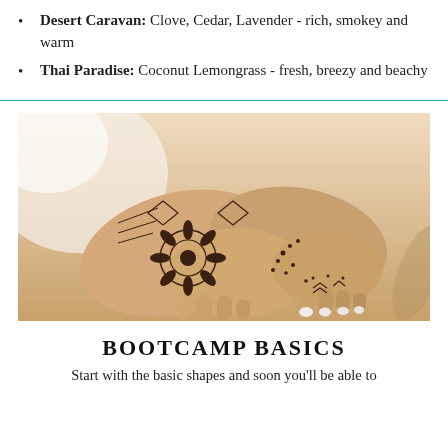Desert Caravan: Clove, Cedar, Lavender - rich, smokey and warm
Thai Paradise: Coconut Lemongrass - fresh, breezy and beachy
[Figure (photo): Close-up photo of two hands and forearms covered in detailed henna/mehndi tattoo designs, with light-colored nail polish, resting against a warm beige surface.]
BOOTCAMP BASICS
Start with the basic shapes and soon you'll be able to